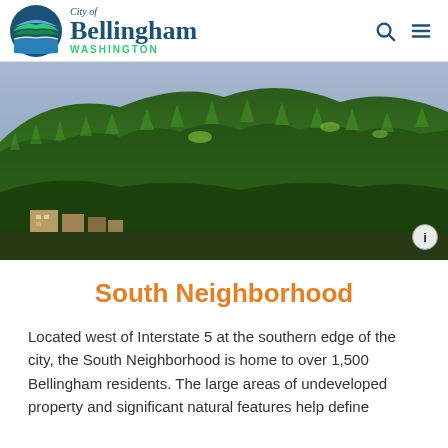City of Bellingham WASHINGTON
[Figure (photo): Aerial view of a forested hillside with dense green conifer trees, and residential buildings visible at the base. A small info icon is visible in the bottom right corner.]
South Neighborhood
Located west of Interstate 5 at the southern edge of the city, the South Neighborhood is home to over 1,500 Bellingham residents. The large areas of undeveloped property and significant natural features help define